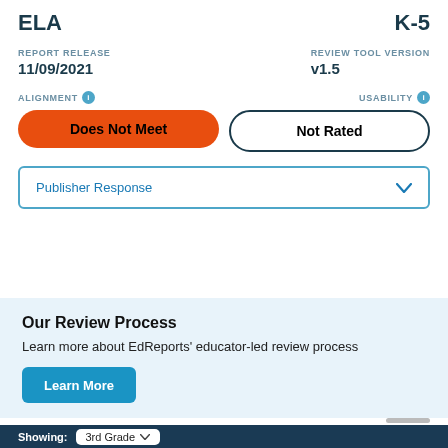ELA
K-5
REPORT RELEASE
11/09/2021
REVIEW TOOL VERSION
v1.5
ALIGNMENT
Does Not Meet
USABILITY
Not Rated
Publisher Response
Our Review Process
Learn more about EdReports’ educator-led review process
Learn More
Showing: 3rd Grade